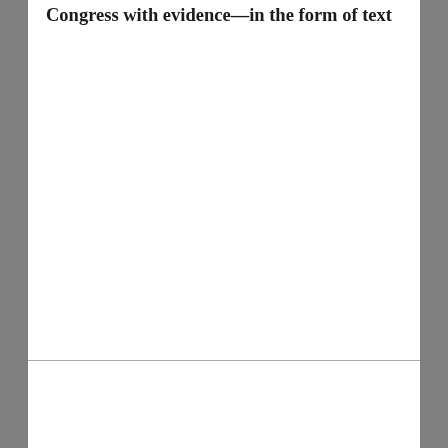Congress with evidence—in the form of text